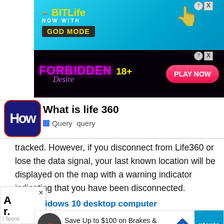[Figure (screenshot): BitLife advertisement banner - blue background with yellow BitLife logo, 'NOW WITH GOD MODE' text]
[Figure (screenshot): Forbidden Desire 18+ advertisement banner - dark background with magenta/purple text and 'PLAY NOW' button]
What is life 360
Query  query
tracked. However, if you disconnect from Life360 or lose the data signal, your last known location will be displayed on the map with a warning indicator indicating that you have been disconnected.
[Figure (screenshot): Partial sidebar advertisement with 'A' and 'r.' text and 'Spons' label]
idows 10 desktop computer
[Figure (screenshot): Bottom advertisement: Save Up to $100 on Brakes & Rotors at Virginia Tire & Auto]